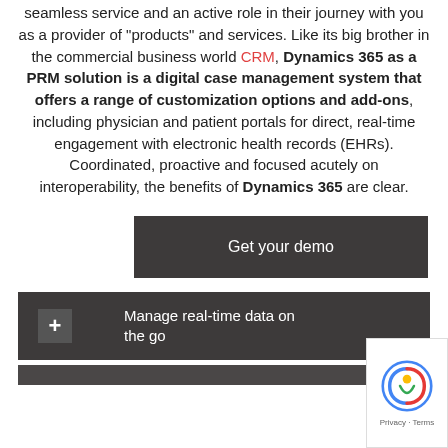seamless service and an active role in their journey with you as a provider of "products" and services. Like its big brother in the commercial business world CRM, Dynamics 365 as a PRM solution is a digital case management system that offers a range of customization options and add-ons, including physician and patient portals for direct, real-time engagement with electronic health records (EHRs). Coordinated, proactive and focused acutely on interoperability, the benefits of Dynamics 365 are clear.
Get your demo
Manage real-time data on the go